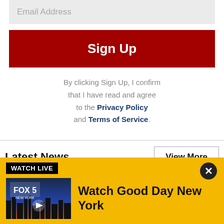Email Address
Sign Up
By clicking Sign Up, I confirm that I have read and agree to the Privacy Policy and Terms of Service.
Latest News
View More
Putin offers $16,000, honorary 'Mother Heroine'
[Figure (screenshot): FOX 5 New York news thumbnail image]
WATCH LIVE
Watch Good Day New York
[Figure (screenshot): FOX 5 New York Watch Good Day New York thumbnail with play button]